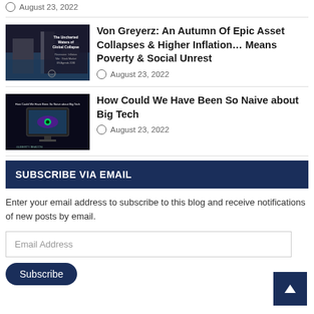August 23, 2022
[Figure (illustration): Book cover: The Uncharted Waters of Global Collapse - showing flooded buildings]
Von Greyerz: An Autumn Of Epic Asset Collapses & Higher Inflation… Means Poverty & Social Unrest
August 23, 2022
[Figure (illustration): Article thumbnail: How Could We Have Been So Naive about Big Tech - eye on monitor]
How Could We Have Been So Naive about Big Tech
August 23, 2022
SUBSCRIBE VIA EMAIL
Enter your email address to subscribe to this blog and receive notifications of new posts by email.
Email Address
Subscribe